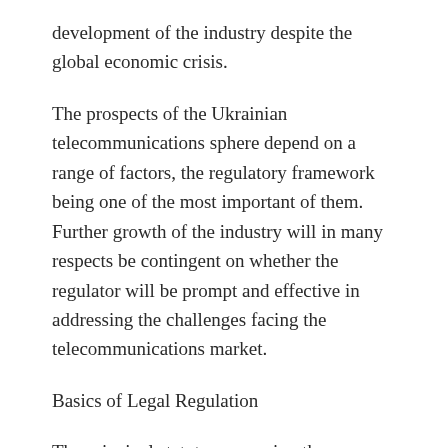development of the industry despite the global economic crisis.
The prospects of the Ukrainian telecommunications sphere depend on a range of factors, the regulatory framework being one of the most important of them. Further growth of the industry will in many respects be contingent on whether the regulator will be prompt and effective in addressing the challenges facing the telecommunications market.
Basics of Legal Regulation
The principal statutes governing the